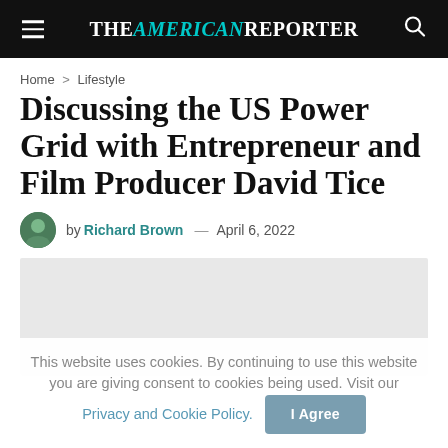THE AMERICAN REPORTER
Home > Lifestyle
Discussing the US Power Grid with Entrepreneur and Film Producer David Tice
by Richard Brown — April 6, 2022
[Figure (photo): Article header image placeholder (light gray rectangle)]
This website uses cookies. By continuing to use this website you are giving consent to cookies being used. Visit our Privacy and Cookie Policy.